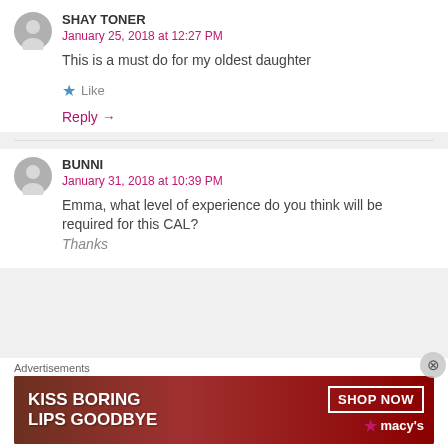[Figure (illustration): Gray user avatar circle icon for Shay Toner]
SHAY TONER
January 25, 2018 at 12:27 PM
This is a must do for my oldest daughter
★ Like
Reply →
[Figure (illustration): Gray user avatar circle icon for Bunni]
BUNNI
January 31, 2018 at 10:39 PM
Emma, what level of experience do you think will be required for this CAL?
Thanks
Advertisements
[Figure (illustration): Macy's advertisement banner: KISS BORING LIPS GOODBYE with SHOP NOW button and Macy's logo, dark red background with woman's face]